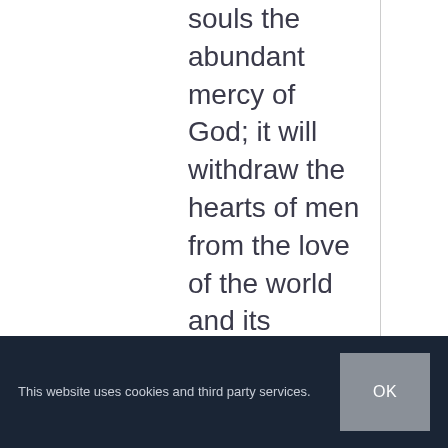souls the abundant mercy of God; it will withdraw the hearts of men from the love of the world and its vanities, and will lift them to the desire
This website uses cookies and third party services.